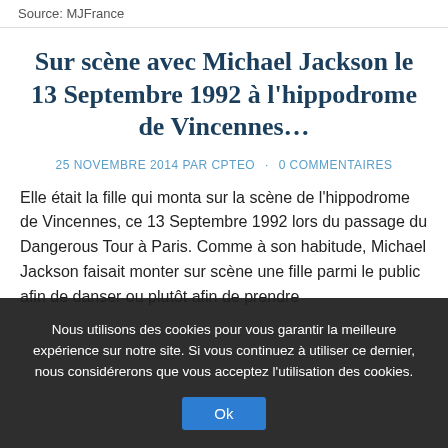Source: MJFrance
Sur scène avec Michael Jackson le 13 Septembre 1992 à l'hippodrome de Vincennes…
25 NOVEMBRE 2014 PAR CPTEO · 0 COMMENTAIRES
Elle était la fille qui monta sur la scène de l'hippodrome de Vincennes, ce 13 Septembre 1992 lors du passage du Dangerous Tour à Paris. Comme à son habitude, Michael Jackson faisait monter sur scène une fille parmi le public afin de danser ou plutôt afin de prendre
Nous utilisons des cookies pour vous garantir la meilleure expérience sur notre site. Si vous continuez à utiliser ce dernier, nous considérerons que vous acceptez l'utilisation des cookies.